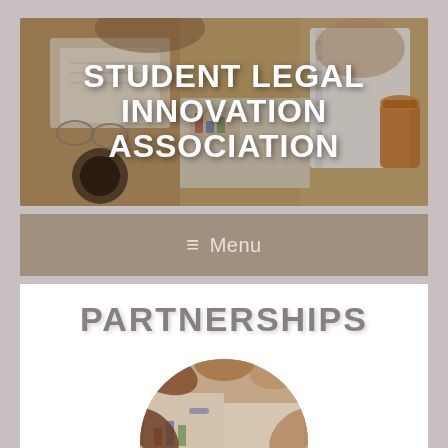[Figure (photo): Header banner photo of people working at a desk with notebooks, charts, coffee cups, and glasses. Overhead view.]
STUDENT LEGAL INNOVATION ASSOCIATION
≡  Menu
PARTNERSHIPS
[Figure (photo): Circular cropped photo showing hands of diverse people gathered together over documents and charts, symbolizing partnership.]